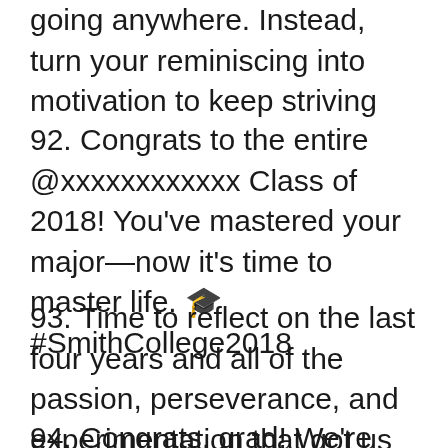going anywhere. Instead, turn your reminiscing into motivation to keep striving
92. Congrats to the entire @xxxxxxxxxxxx Class of 2018! You've mastered your major—now it's time to master life. 🎓 #SmithCollege2018
93. Time to reflect on the last four years and all of the passion, perseverance, and experimentation that got us here today. Go Trojans! #PrezBoGo
94. Congrats, grad! We're proud of you and your latest accomplishment. To